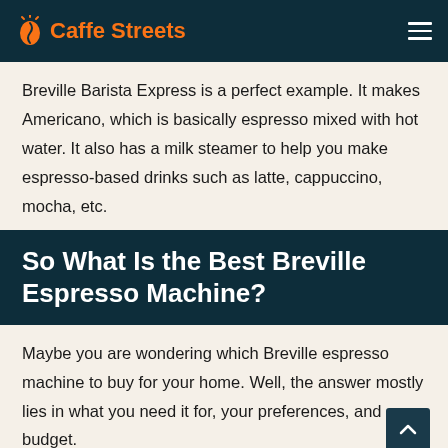Caffe Streets
Breville Barista Express is a perfect example. It makes Americano, which is basically espresso mixed with hot water. It also has a milk steamer to help you make espresso-based drinks such as latte, cappuccino, mocha, etc.
So What Is the Best Breville Espresso Machine?
Maybe you are wondering which Breville espresso machine to buy for your home. Well, the answer mostly lies in what you need it for, your preferences, and budget.